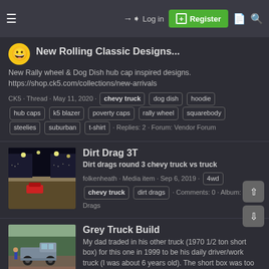≡  Log in  Register
New Rolling Classic Designs...
New Rally wheel & Dog Dish hub cap inspired designs. https://shop.ck5.com/collections/new-arrivals
CK5 · Thread · May 11, 2020 · chevy truck · dog dish · hoodie · hub caps · k5 blazer · poverty caps · rally wheel · squarebody · steelies · suburban · t-shirt · Replies: 2 · Forum: Vendor Forum
[Figure (photo): Thumbnail image of dirt drag racing at night with crowds in stands]
Dirt Drag 3T
Dirt drags round 3 chevy truck vs truck
folkenheath · Media item · Sep 6, 2019 · 4wd · chevy truck · dirt drags · Comments: 0 · Album: Dirt Drags
[Figure (photo): Thumbnail image of a grey lifted pickup truck parked outdoors with a person nearby]
Grey Truck Build
My dad traded in his other truck (1970 1/2 ton short box) for this one in 1999 to be his daily driver/work truck (I was about 6 years old). The short box was too